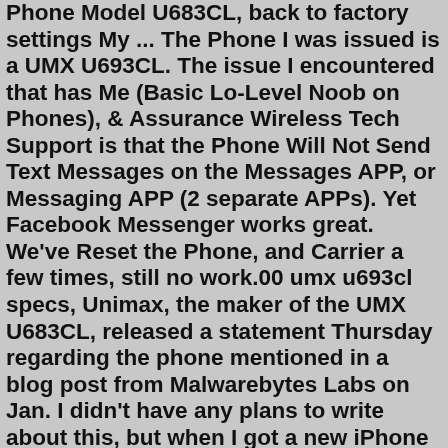Phone Model U683CL, back to factory settings My ... The Phone I was issued is a UMX U693CL. The issue I encountered that has Me (Basic Lo-Level Noob on Phones), & Assurance Wireless Tech Support is that the Phone Will Not Send Text Messages on the Messages APP, or Messaging APP (2 separate APPs). Yet Facebook Messenger works great. We've Reset the Phone, and Carrier a few times, still no work.00 umx u693cl specs, Unimax, the maker of the UMX U683CL, released a statement Thursday regarding the phone mentioned in a blog post from Malwarebytes Labs on Jan. I didn't have any plans to write about this, but when I got a new iPhone and went to look at my iPhone/AT&T minutes used, I realized how buried this function was in their menu system. Search: U693cl Specs. Thanks to the FCC documents, now we have the external photos, internal photos, and user manual for the UNIMAX U693CL smartphone Umx phone u693cl Umx phone u693cl General Specifications; Manufacturer: Umx: Model: U693CL: Android version: 9; 000811; SDK28: CPU: 4